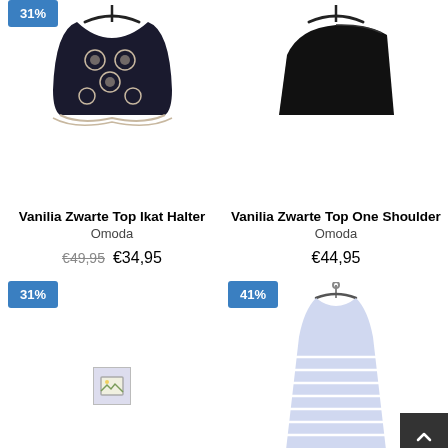[Figure (photo): Vanilia black Ikat halter top on hanger with blue discount badge showing cropped top portion]
[Figure (photo): Vanilia black one-shoulder top on hanger, solid black]
Vanilia Zwarte Top Ikat Halter
Omoda
€49,95  €34,95
Vanilia Zwarte Top One Shoulder
Omoda
€44,95
[Figure (photo): 31% blue badge and broken image placeholder for a product]
[Figure (photo): 41% blue badge and a blue/white striped dress on hanger, partially shown]